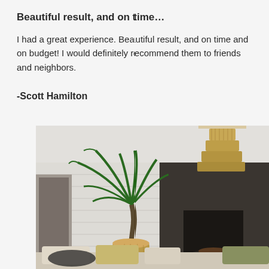Beautiful result, and on time…
I had a great experience. Beautiful result, and on time and on budget! I would definitely recommend them to friends and neighbors.
-Scott Hamilton
[Figure (photo): Interior living room photo showing a large palm plant in a wicker basket, a dark stone fireplace, white shiplap walls, a layered rattan/wicker chandelier hanging from the ceiling, and a sofa with cushions in the foreground.]